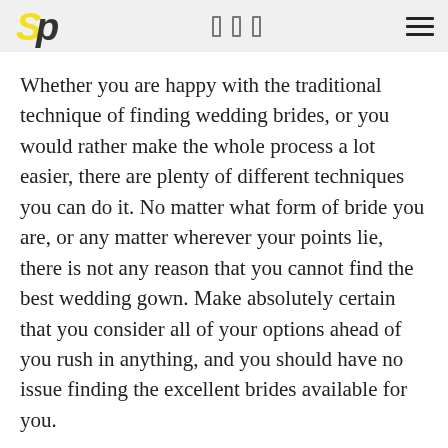SP logo with navigation icons and hamburger menu
Whether you are happy with the traditional technique of finding wedding brides, or you would rather make the whole process a lot easier, there are plenty of different techniques you can do it. No matter what form of bride you are, or any matter wherever your points lie, there is not any reason that you cannot find the best wedding gown. Make absolutely certain that you consider all of your options ahead of you rush in anything, and you should have no issue finding the excellent brides available for you.